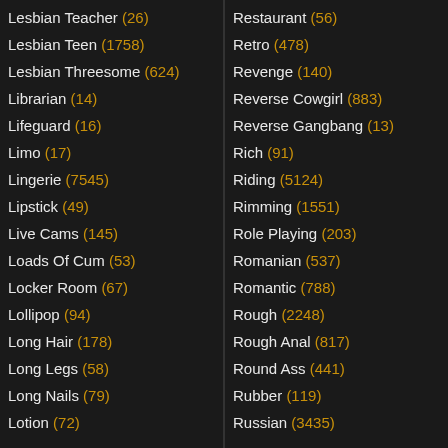Lesbian Teacher (26)
Lesbian Teen (1758)
Lesbian Threesome (624)
Librarian (14)
Lifeguard (16)
Limo (17)
Lingerie (7545)
Lipstick (49)
Live Cams (145)
Loads Of Cum (53)
Locker Room (67)
Lollipop (94)
Long Hair (178)
Long Legs (58)
Long Nails (79)
Lotion (72)
Restaurant (56)
Retro (478)
Revenge (140)
Reverse Cowgirl (883)
Reverse Gangbang (13)
Rich (91)
Riding (5124)
Rimming (1551)
Role Playing (203)
Romanian (537)
Romantic (788)
Rough (2248)
Rough Anal (817)
Round Ass (441)
Rubber (119)
Russian (3435)